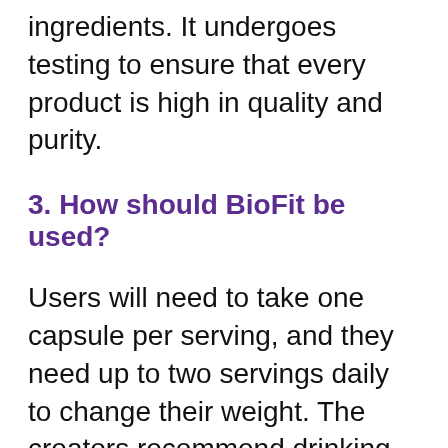ingredients. It undergoes testing to ensure that every product is high in quality and purity.
3. How should BioFit be used?
Users will need to take one capsule per serving, and they need up to two servings daily to change their weight. The creators recommend drinking an entire glass of water to promote better digestion. Probiotics effectively eliminate the bacteria that should not be in the gut, so users may want to take any current medication a few hours after using BioFit.